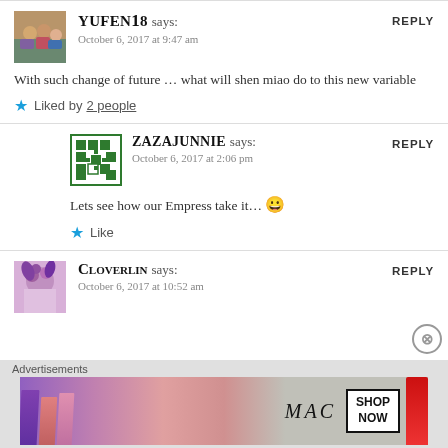[Figure (photo): Avatar image of YUFENI8 - group photo thumbnail]
YUFENI8 says:
October 6, 2017 at 9:47 am
REPLY
With such change of future … what will shen miao do to this new variable
★ Liked by 2 people
[Figure (illustration): Avatar image of ZAZAJUNNIE - green pixel art grid pattern]
ZAZAJUNNIE says:
October 6, 2017 at 2:06 pm
REPLY
Lets see how our Empress take it… 😀
★ Like
[Figure (photo): Avatar image of CLOVERLIN - purple floral thumbnail]
CLOVERLIN says:
October 6, 2017 at 10:52 am
REPLY
Advertisements
[Figure (photo): MAC cosmetics advertisement showing lipsticks with SHOP NOW button]